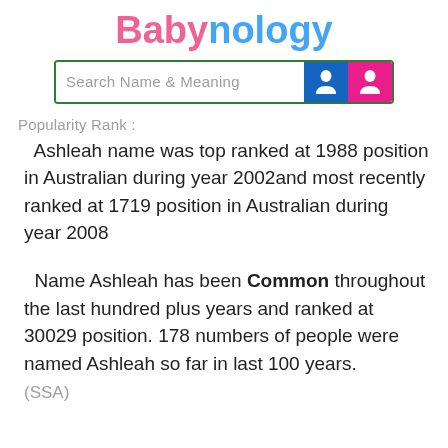Babynology
[Figure (other): Search Name & Meaning search bar with male and female icons]
Popularity Rank :
Ashleah name was top ranked at 1988 position in Australian during year 2002and most recently ranked at 1719 position in Australian during year 2008
Name Ashleah has been Common throughout the last hundred plus years and ranked at 30029 position. 178 numbers of people were named Ashleah so far in last 100 years.
(SSA)